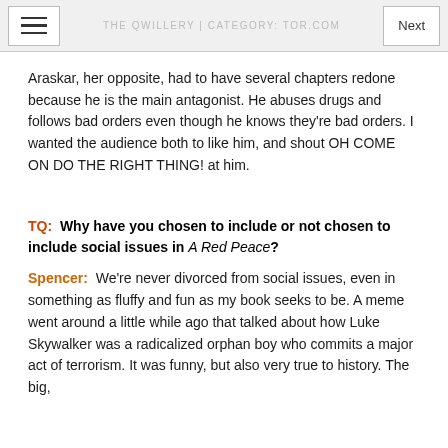THE QWILLERY | CATEGORY: TOR.COM
Araskar, her opposite, had to have several chapters redone because he is the main antagonist. He abuses drugs and follows bad orders even though he knows they're bad orders. I wanted the audience both to like him, and shout OH COME ON DO THE RIGHT THING! at him.
TQ:  Why have you chosen to include or not chosen to include social issues in A Red Peace?
Spencer:  We're never divorced from social issues, even in something as fluffy and fun as my book seeks to be. A meme went around a little while ago that talked about how Luke Skywalker was a radicalized orphan boy who commits a major act of terrorism. It was funny, but also very true to history. The big,